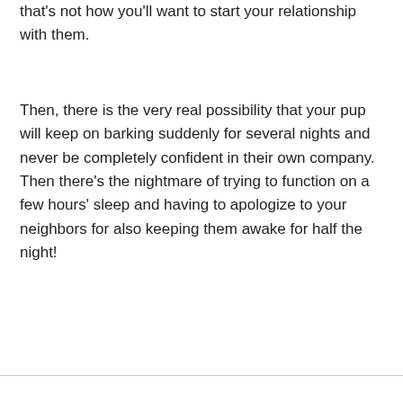that's not how you'll want to start your relationship with them.
Then, there is the very real possibility that your pup will keep on barking suddenly for several nights and never be completely confident in their own company. Then there's the nightmare of trying to function on a few hours' sleep and having to apologize to your neighbors for also keeping them awake for half the night!